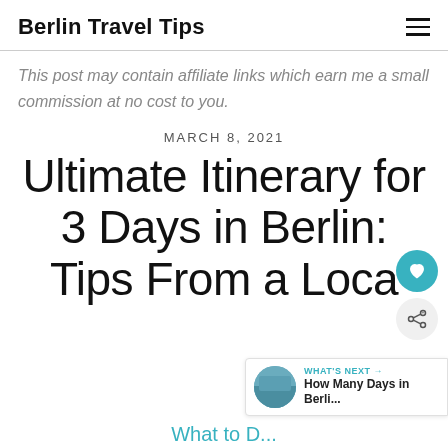Berlin Travel Tips
This post may contain affiliate links which earn me a small commission at no cost to you.
MARCH 8, 2021
Ultimate Itinerary for 3 Days in Berlin: Tips From a Local
[Figure (infographic): Floating action buttons: heart (teal circle) and share icon (light grey circle), plus a 'What's Next' widget showing a thumbnail image and text 'How Many Days in Berli...']